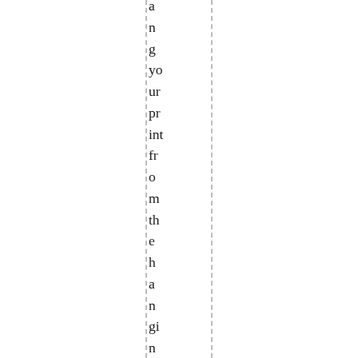a n g yo ur pr int fr o m the h a n gi n g wi re , a n d yo u're d d o n